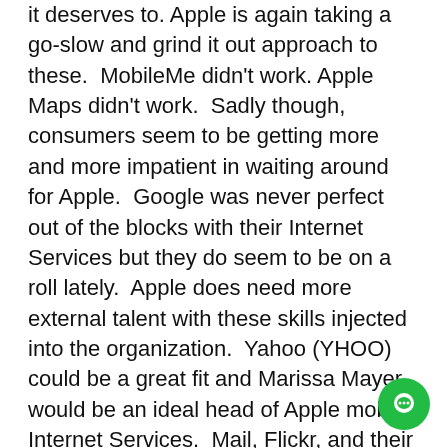it deserves to. Apple is again taking a go-slow and grind it out approach to these.  MobileMe didn't work. Apple Maps didn't work.  Sadly though, consumers seem to be getting more and more impatient in waiting around for Apple.  Google was never perfect out of the blocks with their Internet Services but they do seem to be on a roll lately.  Apple does need more external talent with these skills injected into the organization.  Yahoo (YHOO) could be a great fit and Marissa Mayer would be an ideal head of Apple mobile Internet Services.  Mail, Flickr, and their core properties would fit very well into prominent positioning in iOS.  As Mayer has been saying of late, the Yahoo properties map on very well to the top 10 list of activities of what people do most on mobile.
Social: Tim Cook said in an AllThingsD interview last year that Apple has to be social but that doesn't mean it has